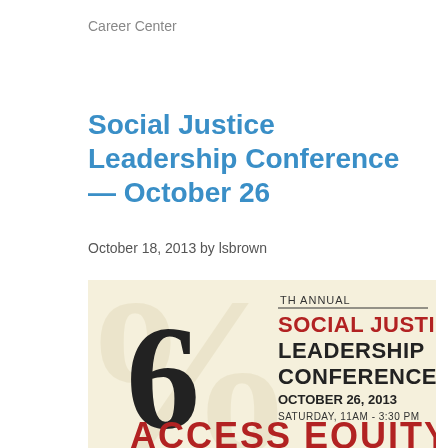Career Center
Social Justice Leadership Conference — October 26
October 18, 2013 by lsbrown
[Figure (illustration): 6th Annual Social Justice Leadership Conference poster. Cream/beige background with large decorative '6' and percent symbol. Text reads: '6TH ANNUAL SOCIAL JUSTICE LEADERSHIP CONFERENCE OCTOBER 26, 2013 SATURDAY, 11AM - 3:30 PM' and at bottom 'ACCESS EQUITY' in large red bold letters.]